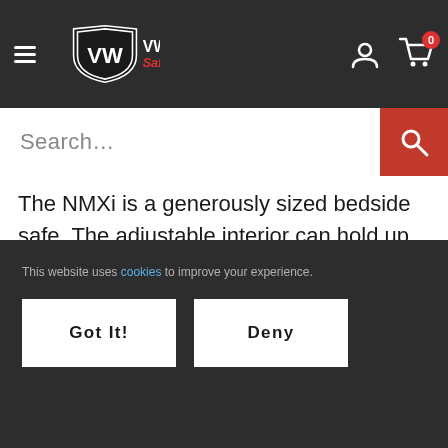[Figure (screenshot): Website header with dark background showing hamburger menu icon, VW Safe logo, user account icon, and shopping cart icon with 0 badge]
[Figure (screenshot): Search bar with placeholder text 'Search...' and red search button with magnifying glass icon]
The NMXi is a generously sized bedside safe. The adjustable interior can hold up to 8 handguns, with 6 in pistol racks on the bottom and 2 on the top shelf. Plus, it is a bit heftier than most bedside gun safes, with a base weight of 32 pounds. In addition to being Wi-Fi enabled to connect to a
This website uses cookies to improve your experience.
Got It!
Deny